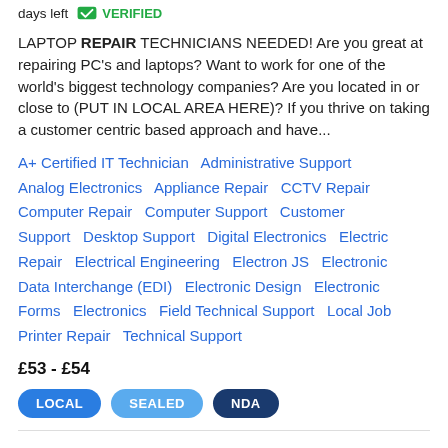days left   VERIFIED
LAPTOP REPAIR TECHNICIANS NEEDED! Are you great at repairing PC's and laptops? Want to work for one of the world's biggest technology companies? Are you located in or close to (PUT IN LOCAL AREA HERE)? If you thrive on taking a customer centric based approach and have...
A+ Certified IT Technician   Administrative Support   Analog Electronics   Appliance Repair   CCTV Repair   Computer Repair   Computer Support   Customer Support   Desktop Support   Digital Electronics   Electric Repair   Electrical Engineering   Electron JS   Electronic Data Interchange (EDI)   Electronic Design   Electronic Forms   Electronics   Field Technical Support   Local Job   Printer Repair   Technical Support
£53 - £54
LOCAL   SEALED   NDA
Computer Repair Techs Needed | Mumbai  25 days